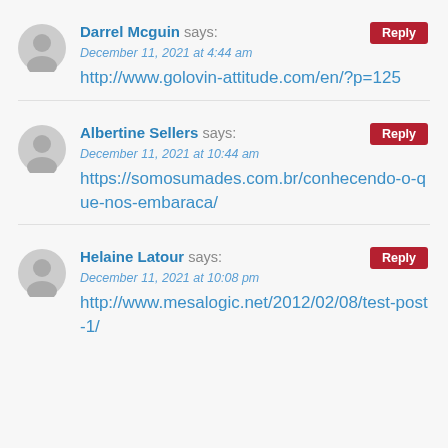Darrel Mcguin says: December 11, 2021 at 4:44 am
http://www.golovin-attitude.com/en/?p=125
Albertine Sellers says: December 11, 2021 at 10:44 am
https://somosumades.com.br/conhecendo-o-que-nos-embaraca/
Helaine Latour says: December 11, 2021 at 10:08 pm
http://www.mesalogic.net/2012/02/08/test-post-1/